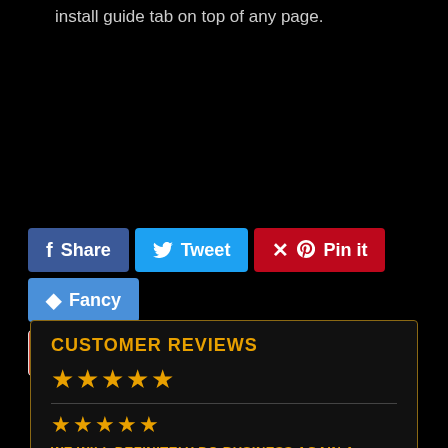install guide tab on top of any page.
[Figure (screenshot): Social sharing buttons: Share (Facebook, blue), Tweet (Twitter, cyan), Pin it (Pinterest, red), Fancy (blue), and a Google+1 button]
CUSTOMER REVIEWS
★★★★★
★★★★★
WE WILL DEFINITELY DO BUSINESS AGAIN A+++